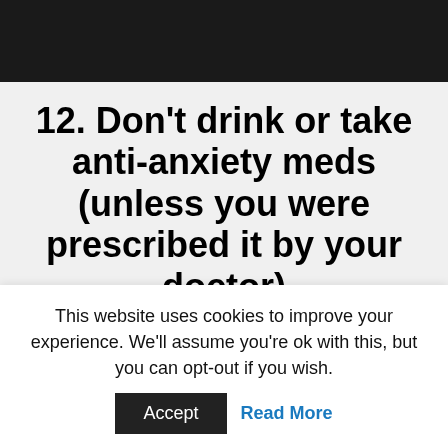[Figure (photo): Dark background photo strip at the top of the page]
12. Don't drink or take anti-anxiety meds (unless you were prescribed it by your doctor)
For many MANY reasons, it is NOT a good idea.
Stick to the healthy food and beverages options.
This website uses cookies to improve your experience. We'll assume you're ok with this, but you can opt-out if you wish.